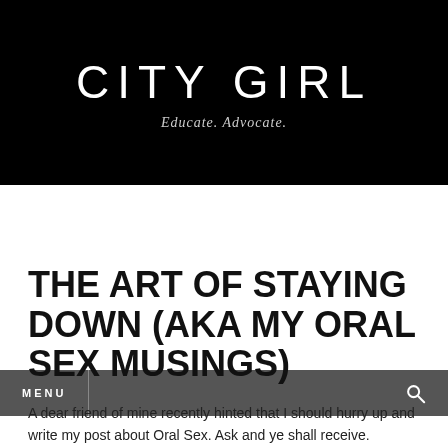CITY GIRL
Educate. Advocate.
THE ART OF STAYING DOWN (AKA MY ORAL SEX MUSINGS)
A dear friend of mine recently hinted that I should hurry up and write my post about Oral Sex. Ask and ye shall receive.